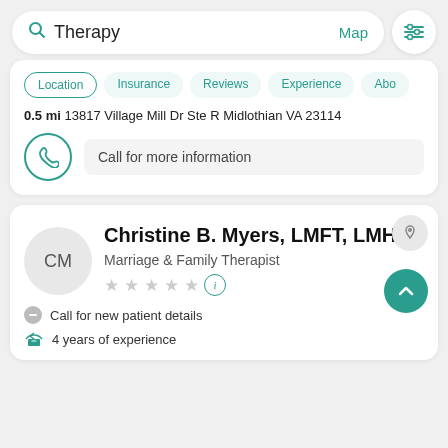[Figure (screenshot): Search bar with 'Therapy' text, Map link, and filter icon]
Location | Insurance | Reviews | Experience | Abo
0.5 mi 13817 Village Mill Dr Ste R Midlothian VA 23114
Call for more information
Christine B. Myers, LMFT, LMHP
Marriage & Family Therapist
Call for new patient details
4 years of experience